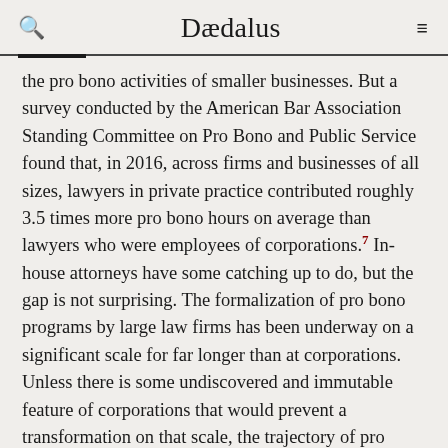Dædalus
the pro bono activities of smaller businesses. But a survey conducted by the American Bar Association Standing Committee on Pro Bono and Public Service found that, in 2016, across firms and businesses of all sizes, lawyers in private practice contributed roughly 3.5 times more pro bono hours on average than lawyers who were employees of corporations.⁷ In-house attorneys have some catching up to do, but the gap is not surprising. The formalization of pro bono programs by large law firms has been underway on a significant scale for far longer than at corporations. Unless there is some undiscovered and immutable feature of corporations that would prevent a transformation on that scale, the trajectory of pro bono efforts in that setting should continue to increase